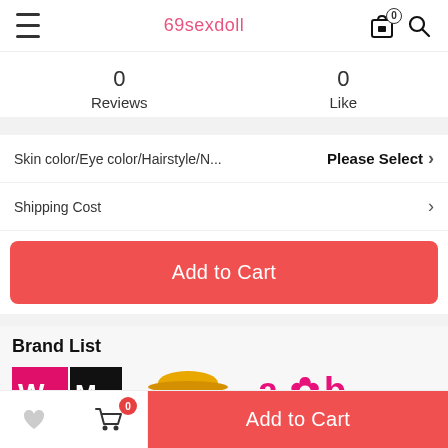69sexdoll
0 Reviews
0 Like
Skin color/Eye color/Hairstyle/N...    Please Select >
Shipping Cost >
Add to Cart
Brand List
[Figure (logo): Brand logos: WM Doll, Irontech Doll, AXBDOLL, BYE Premium]
Add to Cart